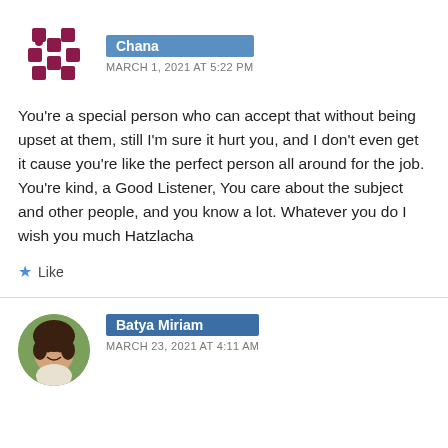[Figure (illustration): Circular avatar with dark red/maroon puzzle-piece pattern on white background]
Chana
MARCH 1, 2021 AT 5:22 PM
You're a special person who can accept that without being upset at them, still I'm sure it hurt you, and I don't even get it cause you're like the perfect person all around for the job. You're kind, a Good Listener, You care about the subject and other people, and you know a lot. Whatever you do I wish you much Hatzlacha
Like
[Figure (photo): Circular profile photo of a woman with dark hair smiling]
Batya Miriam
MARCH 23, 2021 AT 4:11 AM